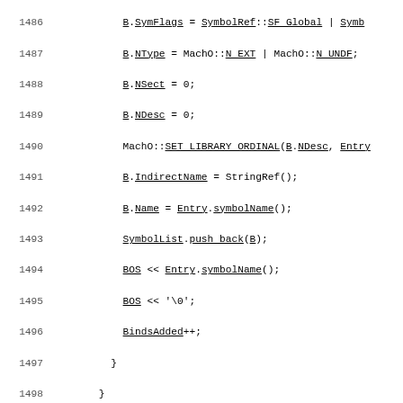Source code listing, lines 1486-1516, C++ code for Mach-O symbol handling